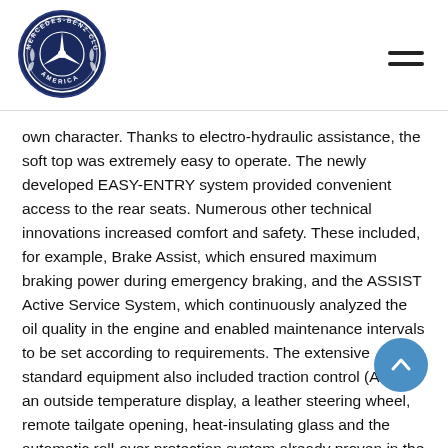[Figure (logo): Mercedes-Benz Club of America circular logo with three-pointed star emblem on dark navy blue background]
own character. Thanks to electro-hydraulic assistance, the soft top was extremely easy to operate. The newly developed EASY-ENTRY system provided convenient access to the rear seats. Numerous other technical innovations increased comfort and safety. These included, for example, Brake Assist, which ensured maximum braking power during emergency braking, and the ASSIST Active Service System, which continuously analyzed the oil quality in the engine and enabled maintenance intervals to be set according to requirements. The extensive standard equipment also included traction control (ASR), an outside temperature display, a leather steering wheel, remote tailgate opening, heat-insulating glass and the automatic roll-over protection system already proven in the previous model.
In 1999 the standard equipment was again significantly extended as part of the model upgrading process. New additions included side skirts and protective strips painted in the color of the car, exterior mirror housings with integrated side indicators, electrical adjustment of the